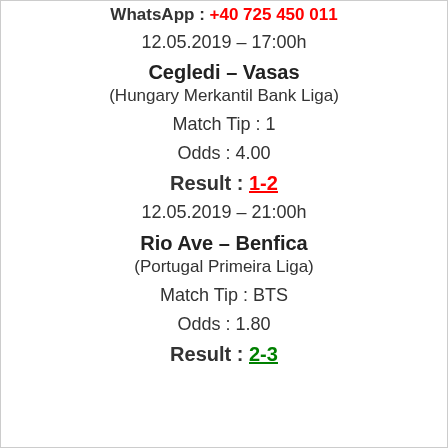WhatsApp : +40 725 450 011
12.05.2019 – 17:00h
Cegledi – Vasas
(Hungary Merkantil Bank Liga)
Match Tip : 1
Odds : 4.00
Result : 1-2
12.05.2019 – 21:00h
Rio Ave – Benfica
(Portugal Primeira Liga)
Match Tip : BTS
Odds : 1.80
Result : 2-3